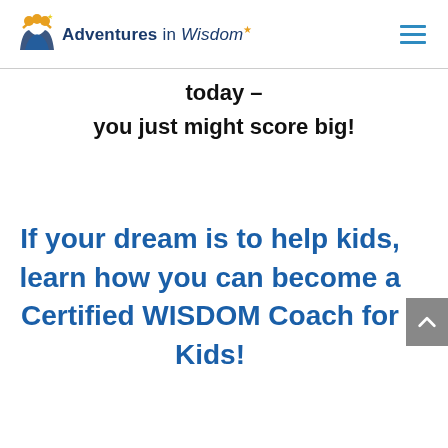Adventures in Wisdom
today – you just might score big!
If your dream is to help kids, learn how you can become a Certified WISDOM Coach for Kids!